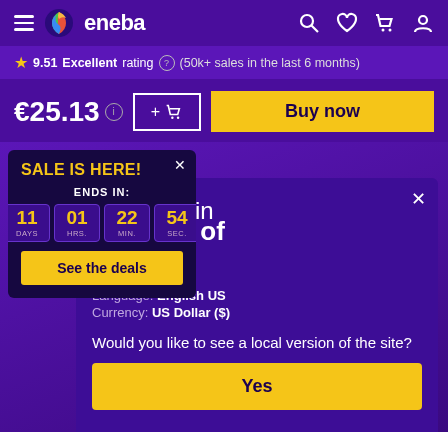eneba navigation bar with hamburger, logo, search, wishlist, cart, account icons
9.51 Excellent rating (50k+ sales in the last 6 months)
€25.13
SALE IS HERE! ENDS IN: 11 DAYS 01 HRS. 22 MIN. 54 SEC. See the deals
d States of ica
Language: English US
Currency: US Dollar ($)
Would you like to see a local version of the site?
Yes